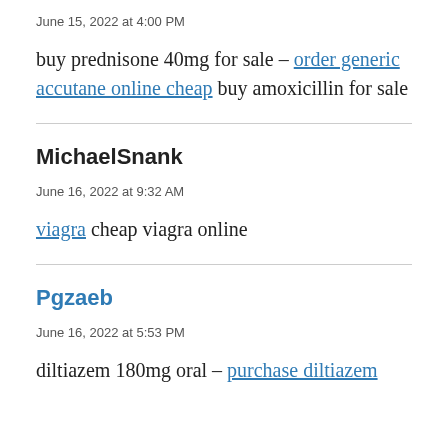June 15, 2022 at 4:00 PM
buy prednisone 40mg for sale – order generic accutane online cheap buy amoxicillin for sale
MichaelSnank
June 16, 2022 at 9:32 AM
viagra cheap viagra online
Pgzaeb
June 16, 2022 at 5:53 PM
diltiazem 180mg oral – purchase diltiazem